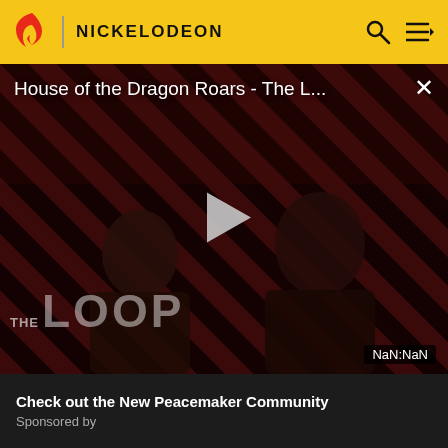NICKELODEON
[Figure (screenshot): Video player showing 'House of the Dragon Roars - The L...' with a dark striped background, two person silhouettes, a large play button in the center, THE LOOP text at bottom left, NaN:NaN duration badge at bottom right, and a close X button top right.]
House of the Dragon Roars - The L...
NaN:NaN
Check out the New Peacemaker Community
Sponsored by
[Figure (logo): nickelodeon. logo in orange with partial colorful graphic below]